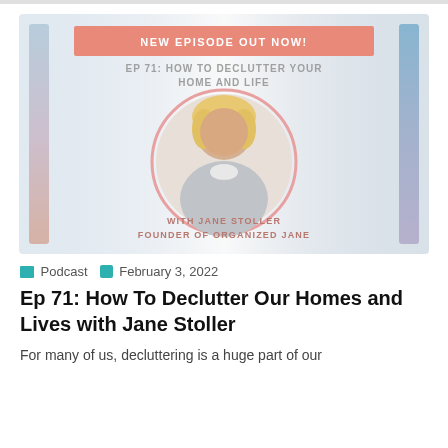[Figure (illustration): Podcast promotional image for Episode 71: How To Declutter Your Home And Life. White background with gradient blue/purple side bars, salmon/pink banner at top reading 'NEW EPISODE OUT NOW!', subtitle 'EP 71: HOW TO DECLUTTER YOUR HOME AND LIFE', circular photo of Jane Stoller (blonde woman in gray sweater), and text 'WITH JANE STOLLER FOUNDER OF ORGANIZED JANE' in salmon/pink.]
Podcast  February 3, 2022
Ep 71: How To Declutter Our Homes and Lives with Jane Stoller
For many of us, decluttering is a huge part of our